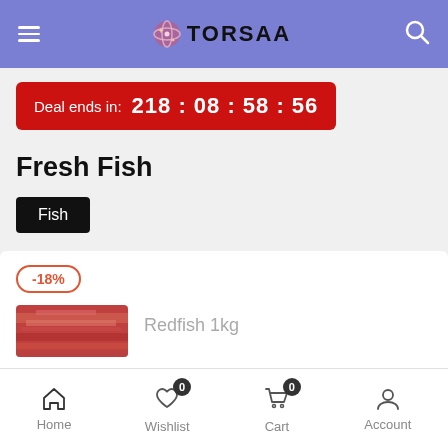TORSAA
Deal ends in: 218 : 08 : 58 : 56
Fresh Fish
Fish
-18%
Redfish 1kg
Home  Wishlist  Cart  Account